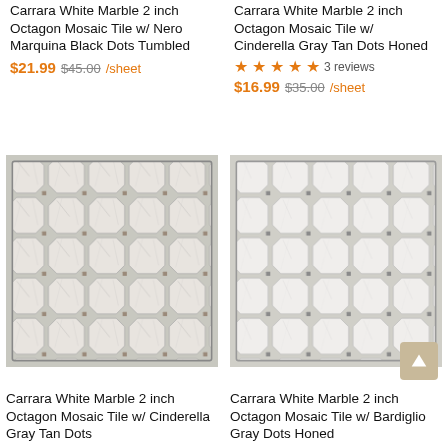Carrara White Marble 2 inch Octagon Mosaic Tile w/ Nero Marquina Black Dots Tumbled
$21.99  $45.00  /sheet
Carrara White Marble 2 inch Octagon Mosaic Tile w/ Cinderella Gray Tan Dots Honed
3 reviews
$16.99  $35.00  /sheet
[Figure (photo): Carrara white marble octagon mosaic tile with gray tan dots]
[Figure (photo): Carrara white marble octagon mosaic tile with gray dots honed]
Carrara White Marble 2 inch Octagon Mosaic Tile w/ Cinderella Gray Tan Dots
Carrara White Marble 2 inch Octagon Mosaic Tile w/ Bardiglio Gray Dots Honed